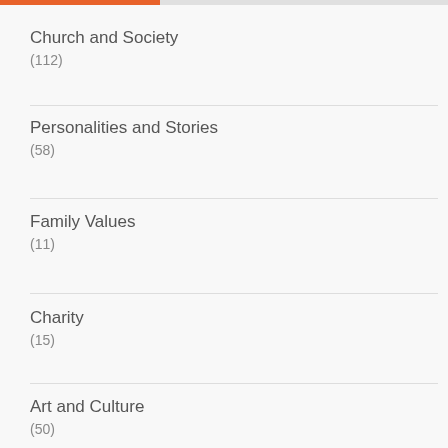Church and Society (112)
Personalities and Stories (58)
Family Values (11)
Charity (15)
Art and Culture (50)